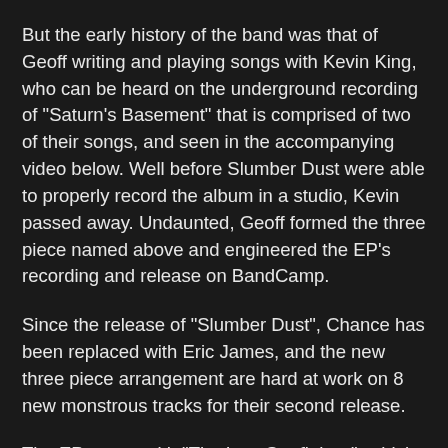But the early history of the band was that of Geoff writing and playing songs with Kevin King, who can be heard on the underground recording of "Saturn's Basement" that is comprised of two of their songs, and seen in the accompanying video below. Well before Slumber Dust were able to properly record the album in a studio, Kevin passed away. Undaunted, Geoff formed the three piece named above and engineered the EP's recording and release on BandCamp.
Since the release of "Slumber Dust", Chance has been replaced with Eric James, and the new three piece arrangement are hard at work on 8 new monstrous tracks for their second release.
The EP opens with "The Last Starfighter", which quickly establishes the wealth of gifts these three Canadian lads have on offer. Guitar, bass, and drums are all immediately established with a clamor and commotion of fuzz galore. Following not long after are Geoff's vocals, a perfect complement to the underlying undulations. The song is